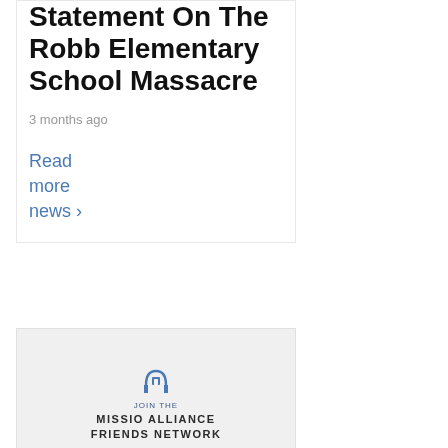Statement On The Robb Elementary School Massacre
3 months ago
Read more news ›
[Figure (logo): Missio Alliance Friends Network advertisement banner with logo, 'JOIN THE MISSIO ALLIANCE FRIENDS NETWORK' text and a button]